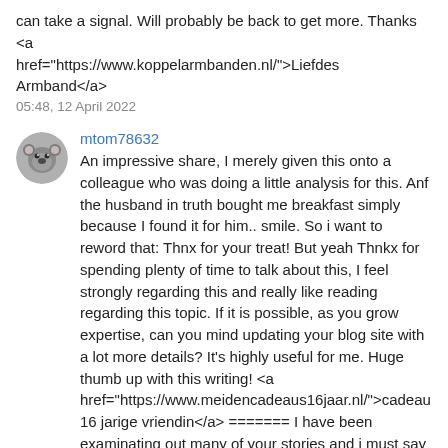can take a signal. Will probably be back to get more. Thanks <a href="https://www.koppelarmbanden.nl/">Liefdes Armband</a>
05:48, 12 April 2022
[Figure (photo): Circular avatar image of a koala bear]
mtom78632
An impressive share, I merely given this onto a colleague who was doing a little analysis for this. Anf the husband in truth bought me breakfast simply because I found it for him.. smile. So i want to reword that: Thnx for your treat! But yeah Thnkx for spending plenty of time to talk about this, I feel strongly regarding this and really like reading regarding this topic. If it is possible, as you grow expertise, can you mind updating your blog site with a lot more details? It's highly useful for me. Huge thumb up with this writing! <a href="https://www.meidencadeaus16jaar.nl/">cadeau 16 jarige vriendin</a> ======= I have been examinating out many of your stories and i must say pretty good stuff. I will make sure to bookmark your blog. <a href="https://www.kattencadeaus.nl/">Katten cadeaus</a>